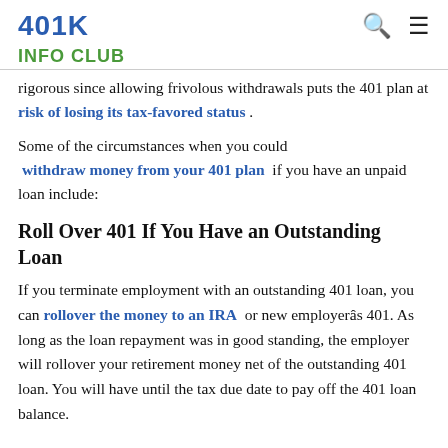401K
INFO CLUB
rigorous since allowing frivolous withdrawals puts the 401 plan at risk of losing its tax-favored status .
Some of the circumstances when you could withdraw money from your 401 plan if you have an unpaid loan include:
Roll Over 401 If You Have an Outstanding Loan
If you terminate employment with an outstanding 401 loan, you can rollover the money to an IRA or new employerâs 401. As long as the loan repayment was in good standing, the employer will rollover your retirement money net of the outstanding 401 loan. You will have until the tax due date to pay off the 401 loan balance.